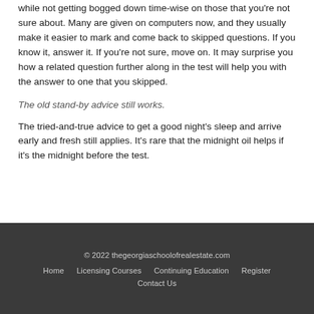while not getting bogged down time-wise on those that you're not sure about. Many are given on computers now, and they usually make it easier to mark and come back to skipped questions. If you know it, answer it. If you're not sure, move on. It may surprise you how a related question further along in the test will help you with the answer to one that you skipped.
The old stand-by advice still works.
The tried-and-true advice to get a good night's sleep and arrive early and fresh still applies. It's rare that the midnight oil helps if it's the midnight before the test.
© 2022 thegeorgiaschoolofrealestate.com  Home  Licensing Courses  Continuing Education  Register  Contact Us